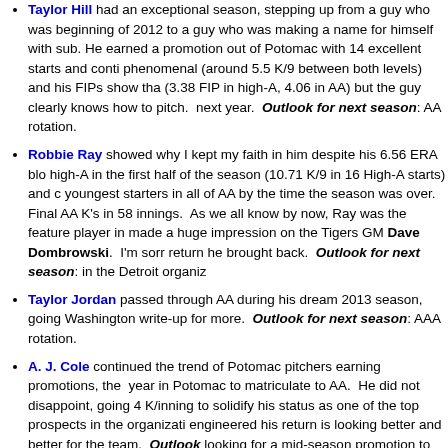Taylor Hill had an exceptional season, stepping up from a guy who was beginning of 2012 to a guy who was making a name for himself with sub. He earned a promotion out of Potomac with 14 excellent starts and cont phenomenal (around 5.5 K/9 between both levels) and his FIPs show that (3.38 FIP in high-A, 4.06 in AA) but the guy clearly knows how to pitch. next year. Outlook for next season: AA rotation.
Robbie Ray showed why I kept my faith in him despite his 6.56 ERA blow high-A in the first half of the season (10.71 K/9 in 16 High-A starts) and c youngest starters in all of AA by the time the season was over. Final AA K's in 58 innings. As we all know by now, Ray was the feature player in t made a huge impression on the Tigers GM Dave Dombrowski. I'm sorry return he brought back. Outlook for next season: in the Detroit organiz
Taylor Jordan passed through AA during his dream 2013 season, going Washington write-up for more. Outlook for next season: AAA rotation.
A. J. Cole continued the trend of Potomac pitchers earning promotions, b the year in Potomac to matriculate to AA. He did not disappoint, going 4 K/inning to solidify his status as one of the top prospects in the organizat engineered his return is looking better and better for the team. Outlook looking for a mid-season promotion to AAA.
Other guys who got spot starts here and there:
Matt Swynenberg got a few spot-starts heare and there; see the re
Ryan Tatusko dropped down to give AA a spot start; see AAA post.
Trevor Holder and Tyler Herron each got a spot start but were prim